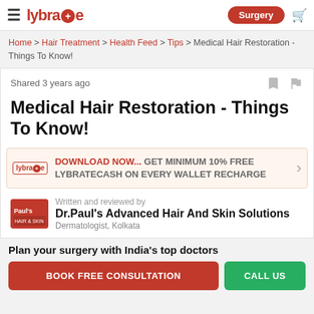lybrate Surgery
Home > Hair Treatment > Health Feed > Tips > Medical Hair Restoration - Things To Know!
Shared 3 years ago
Medical Hair Restoration - Things To Know!
DOWNLOAD NOW... GET MINIMUM 10% FREE LYBRATECASH ON EVERY WALLET RECHARGE
Written and reviewed by
Dr.Paul's Advanced Hair And Skin Solutions
Dermatologist, Kolkata
Plan your surgery with India's top doctors
BOOK FREE CONSULTATION
CALL US